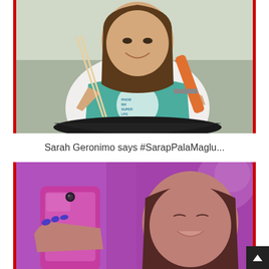[Figure (photo): Woman wearing a Phoenix Super LPG apron, smiling, cooking with chopsticks in a wok/pan, holding a spatula with orange handle. Photo has red borders on left and right sides.]
Sarah Geronimo says #SarapPalaMaglu...
[Figure (photo): Young woman taking a selfie with a pink/magenta colored phone, smiling, with purple-pink tinted lighting. Photo has red borders on left and right sides.]